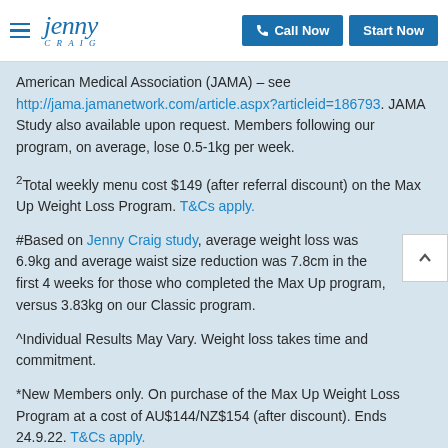Jenny Craig — Call Now | Start Now
American Medical Association (JAMA) – see http://jama.jamanetwork.com/article.aspx?articleid=186793. JAMA Study also available upon request. Members following our program, on average, lose 0.5-1kg per week.
²Total weekly menu cost $149 (after referral discount) on the Max Up Weight Loss Program. T&Cs apply.
#Based on Jenny Craig study, average weight loss was 6.9kg and average waist size reduction was 7.8cm in the first 4 weeks for those who completed the Max Up program, versus 3.83kg on our Classic program.
^Individual Results May Vary. Weight loss takes time and commitment.
*New Members only. On purchase of the Max Up Weight Loss Program at a cost of AU$144/NZ$154 (after discount). Ends 24.9.22. T&Cs apply.
**Minimum spend $300. T&Cs apply.